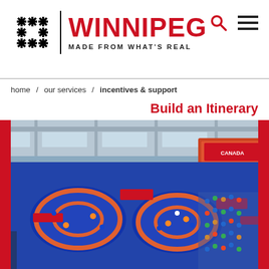[Figure (logo): Winnipeg city logo with snowflake-style icon and text 'WINNIPEG — MADE FROM WHAT'S REAL' in black and red]
[Figure (other): Search icon (magnifying glass) and hamburger menu icon in top-right]
home / our services / incentives & support
Build an Itinerary
[Figure (photo): Aerial/wide-angle photo of an indoor sports arena hosting a wrestling competition. Blue mats with orange circular wrestling rings cover the floor. Athletes compete while spectators watch from the sides. Red-branded banners and signage visible throughout the venue.]